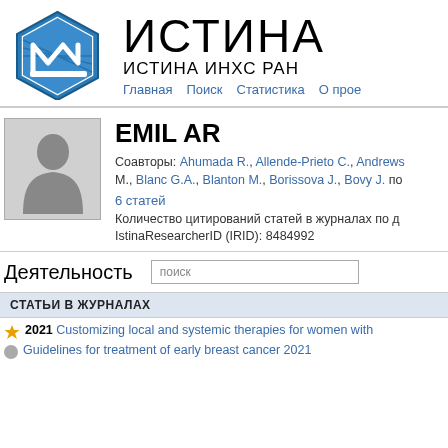[Figure (logo): ISTINA system logo - hexagonal blue icon with stylized M letter]
ИСТИНА
ИСТИНА ИНХС РАН
Главная   Поиск   Статистика   О прое
[Figure (photo): Silhouette avatar of a person - default profile picture]
EMIL AR
Соавторы: Ahumada R., Allende-Prieto C., Andrews M., Blanc G.A., Blanton M., Borissova J., Bovy J. по
6 статей
Количество цитирований статей в журналах по д
IstinaResearcherID (IRID): 8484992
Деятельность
поиск
Статьи в журналах
2021 Customizing local and systemic therapies for women with
Guidelines for treatment of early breast cancer 2021